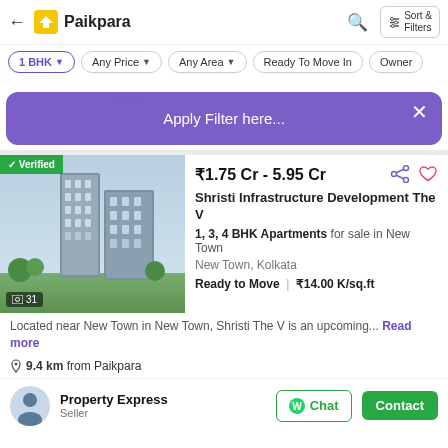← Paikpara | Sort & Filters
1 BHK ▼  Any Price ▼  Any Area ▼  Ready To Move In  Owner
[Figure (screenshot): Purple dropdown tooltip with text 'Apply Filter here...' and an X close button]
[Figure (photo): Verified property listing image of building towers, showing 31 images]
₹1.75 Cr - 5.95 Cr
Shristi Infrastructure Development The V
1, 3, 4 BHK Apartments for sale in New Town
New Town, Kolkata
Ready to Move | ₹14.00 K/sq.ft
Located near New Town in New Town, Shristi The V is an upcoming... Read more
9.4 km from Paikpara
Property Express
Seller
Chat  Contact